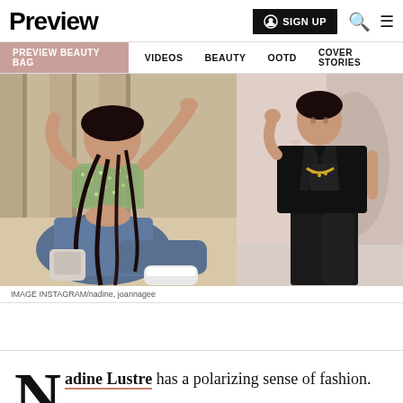Preview
SIGN UP  Q  ≡
PREVIEW BEAUTY BAG  VIDEOS  BEAUTY  OOTD  COVER STORIES
[Figure (photo): Two fashion photos side by side: left shows a woman seated on the floor wearing a sequined crop top, high-waisted jeans, and white sneakers with long braids; right shows a woman in a black blazer suit with gold necklace posing against a light wall.]
IMAGE INSTAGRAM/nadine, joannagee
Nadine Lustre has a polarizing sense of fashion.